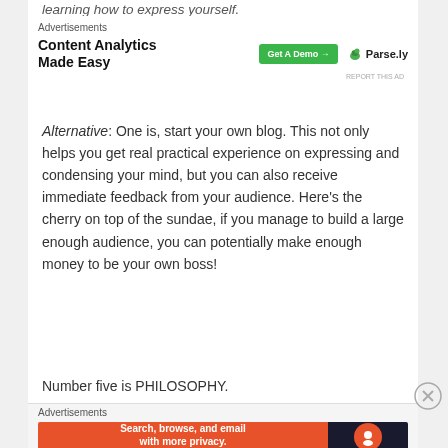learning how to express yourself.
[Figure (screenshot): Advertisement banner for Parse.ly: 'Content Analytics Made Easy' with a green 'Get A Demo' button and Parse.ly logo]
Alternative: One is, start your own blog. This not only helps you get real practical experience on expressing and condensing your mind, but you can also receive immediate feedback from your audience. Here's the cherry on top of the sundae, if you manage to build a large enough audience, you can potentially make enough money to be your own boss!
Number five is PHILOSOPHY.
[Figure (screenshot): Advertisement banner for DuckDuckGo: 'Search, browse, and email with more privacy. All in One Free App']